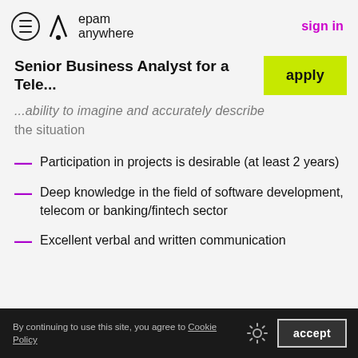epam anywhere — sign in
Senior Business Analyst for a Tele...
…ability to imagine and accurately describe the situation
Participation in projects is desirable (at least 2 years)
Deep knowledge in the field of software development, telecom or banking/fintech sector
Excellent verbal and written communication
By continuing to use this site, you agree to Cookie Policy  accept